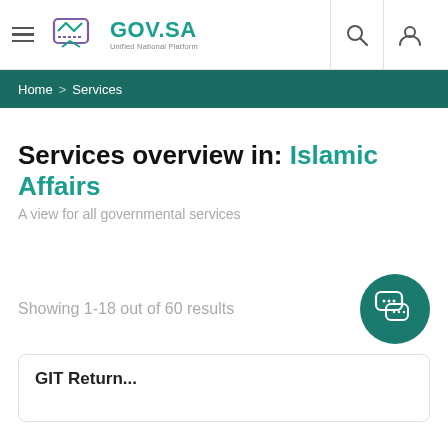GOV.SA Unified National Platform
Home > Services
Services overview in: Islamic Affairs
A view for all governmental services
Showing 1-18 out of 60 results
GIT Return...